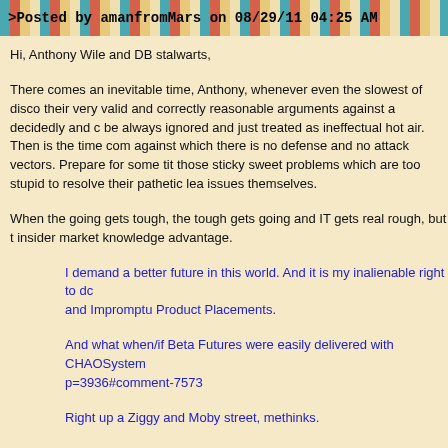>Posted by amanfromMars on 08/29/11 04:25 AM
Hi, Anthony Wile and DB stalwarts,
There comes an inevitable time, Anthony, whenever even the slowest of disco their very valid and correctly reasonable arguments against a decidedly and c be always ignored and just treated as ineffectual hot air. Then is the time com against which there is no defense and no attack vectors. Prepare for some tit those sticky sweet problems which are too stupid to resolve their pathetic lea issues themselves.
When the going gets tough, the tough gets going and IT gets real rough, but t insider market knowledge advantage.
I demand a better future in this world. And it is my inalienable right to dc and Impromptu Product Placements.
And what when/if Beta Futures were easily delivered with CHAOSystem p=3936#comment-7573
Right up a Ziggy and Moby street, methinks.
And what if Flash Crashes and Market Routs were New Virtual World C Cascading Command and Control SCADA Leverage Systems .......Faci SMARTer Areas of CodeXSSXXXX DEvelopment? ........ The sort of cra